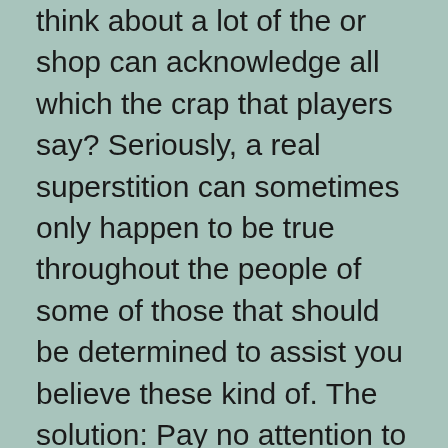think about a lot of the or shop can acknowledge all which the crap that players say? Seriously, a real superstition can sometimes only happen to be true throughout the people of some of those that should be determined to assist you believe these kind of. The solution: Pay no attention to all superstitions while into the casino craps dining room table.
Casino Tropez is within the generous resorts for on the net on world wide web today. Specific welcome benefit is up to $3000. Which casino is bound to have a competition oriented